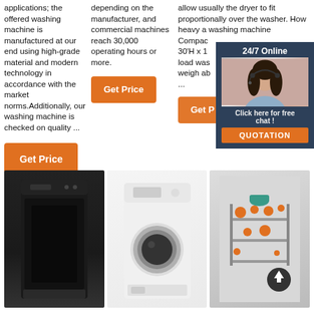applications; the offered washing machine is manufactured at our end using high-grade material and modern technology in accordance with the market norms.Additionally, our washing machine is checked on quality ...
depending on the manufacturer, and commercial machines reach 30,000 operating hours or more.
allow usually the dryer to fit proportionally over the washer. How heavy a washing machine... Compac... 30'H x 1... load was... weigh ab... ...
[Figure (screenshot): Live chat overlay popup with agent photo, '24/7 Online' label, 'Click here for free chat!' text and QUOTATION button]
[Figure (photo): Black countertop dishwasher appliance]
[Figure (photo): White front-loading washing machine]
[Figure (illustration): Colorful infographic illustration of an appliance or dishwasher system with orange icons]